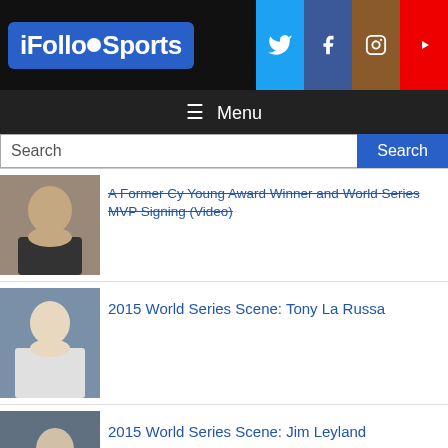[Figure (logo): iFolloWSports logo on blue background]
[Figure (infographic): Social media icons: Twitter (blue), Facebook (dark blue), Instagram (brown), YouTube (red)]
≡ Menu
Search
A Former Cy Young Award Winner and World Series MVP Signing (Video)
2015 World Series Scene: Tony La Russa
2015 World Series Scene: Jim Leyland